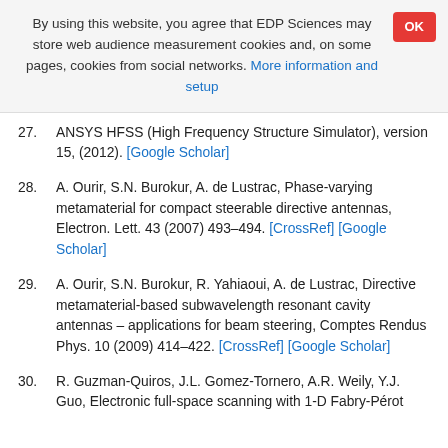By using this website, you agree that EDP Sciences may store web audience measurement cookies and, on some pages, cookies from social networks. More information and setup
27. ANSYS HFSS (High Frequency Structure Simulator), version 15, (2012). [Google Scholar]
28. A. Ourir, S.N. Burokur, A. de Lustrac, Phase-varying metamaterial for compact steerable directive antennas, Electron. Lett. 43 (2007) 493–494. [CrossRef] [Google Scholar]
29. A. Ourir, S.N. Burokur, R. Yahiaoui, A. de Lustrac, Directive metamaterial-based subwavelength resonant cavity antennas – applications for beam steering, Comptes Rendus Phys. 10 (2009) 414–422. [CrossRef] [Google Scholar]
30. R. Guzman-Quiros, J.L. Gomez-Tornero, A.R. Weily, Y.J. Guo, Electronic full-space scanning with 1-D Fabry-Pérot